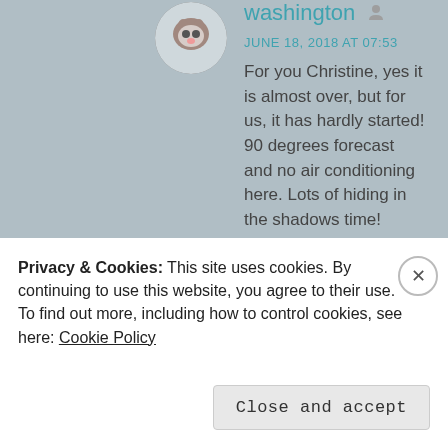[Figure (photo): Circular profile photo of a cat avatar in the upper left of the comment]
washington
JUNE 18, 2018 AT 07:53
For you Christine, yes it is almost over, but for us, it has hardly started! 90 degrees forecast and no air conditioning here. Lots of hiding in the shadows time! Better get back in the bag! xxx
Like
Comments are closed.
Privacy & Cookies: This site uses cookies. By continuing to use this website, you agree to their use.
To find out more, including how to control cookies, see here: Cookie Policy
Close and accept